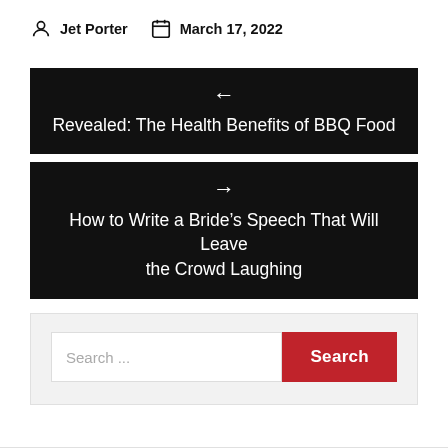Jet Porter   March 17, 2022
← Revealed: The Health Benefits of BBQ Food
→ How to Write a Bride's Speech That Will Leave the Crowd Laughing
Search ...